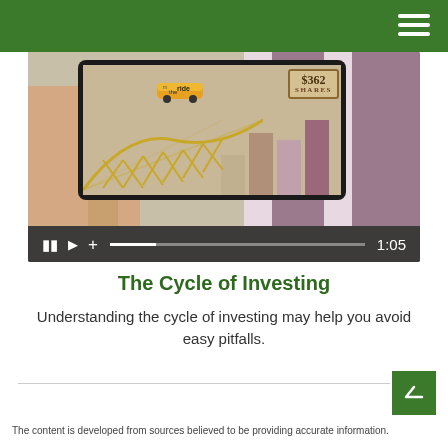[Figure (screenshot): A hand holding a tablet displaying an animated video about investing. The tablet screen shows a roller coaster car on a bridge with bar charts and a '$362 SHARES' stamp graphic. Below the video image are media controls showing a pause button, play button, plus button, a progress bar, and a time stamp of 1:05.]
The Cycle of Investing
Understanding the cycle of investing may help you avoid easy pitfalls.
The content is developed from sources believed to be providing accurate information.